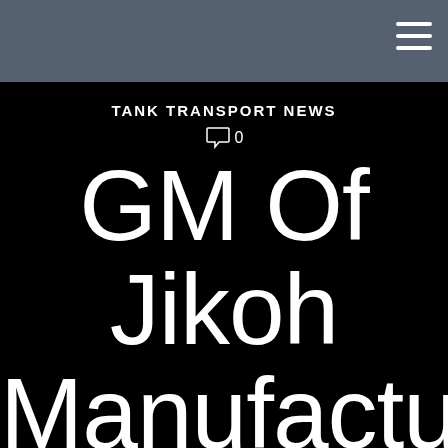TANK TRANSPORT NEWS
0
GM Of Jikoh Manufacturing On Products